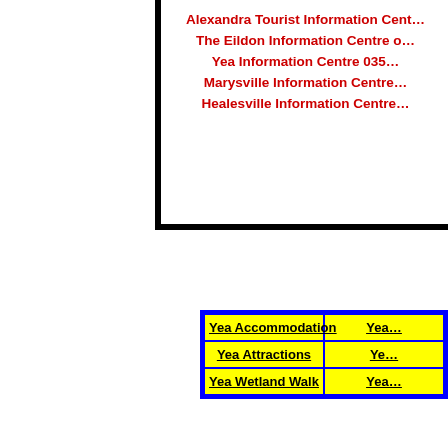Alexandra Tourist Information Centre | The Eildon Information Centre | Yea Information Centre 035... | Marysville Information Centre | Healesville Information Centre
| Yea Accommodation | Yea... |
| Yea Attractions | Ye... |
| Yea Wetland Walk | Yea... |